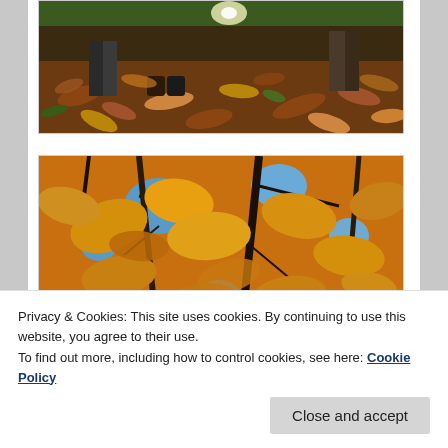[Figure (photo): Autumn leaves scattered on ground with people's feet/legs visible, warm sunlit scene viewed from ground level]
[Figure (photo): Close-up view looking up through golden autumn leaves on tree branches against blue sky]
Privacy & Cookies: This site uses cookies. By continuing to use this website, you agree to their use.
To find out more, including how to control cookies, see here: Cookie Policy
[Figure (photo): Partially visible autumn scene at bottom of page, yellow/orange tones]